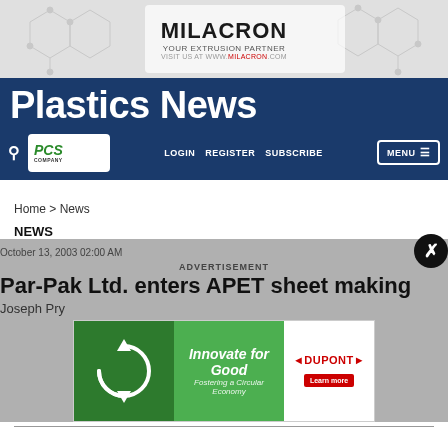[Figure (logo): Milacron Your Extrusion Partner advertisement banner with chemical structure background]
Plastics News
[Figure (logo): PCS Company logo in white box]
LOGIN   REGISTER   SUBSCRIBE   MENU
Home > News
NEWS
October 13, 2003 02:00 AM
Par-Pak Ltd. enters APET sheet making
Joseph Pry
[Figure (illustration): DuPont advertisement: Innovate for Good, Fostering a Circular Economy, with green recycling imagery and DuPont logo and Learn more button]